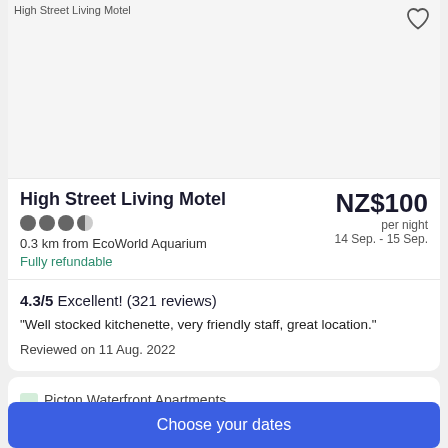[Figure (photo): Hotel image placeholder for High Street Living Motel]
High Street Living Motel
0.3 km from EcoWorld Aquarium
Fully refundable
NZ$100 per night 14 Sep. - 15 Sep.
4.3/5 Excellent! (321 reviews)
"Well stocked kitchenette, very friendly staff, great location."
Reviewed on 11 Aug. 2022
Picton Waterfront Apartments
Choose your dates